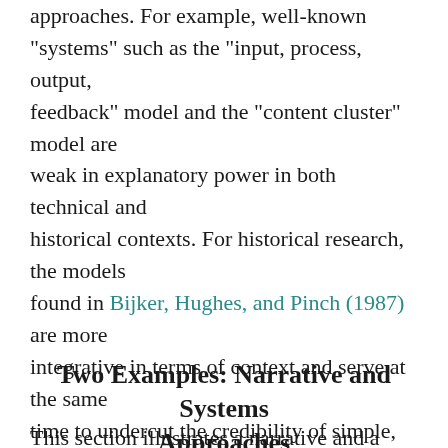approaches. For example, well-known "systems" such as the "input, process, output, feedback" model and the "content cluster" model are weak in explanatory power in both technical and historical contexts. For historical research, the models found in Bijker, Hughes, and Pinch (1987) are more integrative in terms of context and serve at the same time to undercut the credibility of simple, linear models such as the "input, process, output, feedback" model. Nevertheless, all models risk presenting a distorted view if historical evidence is "force fit" into them.
Two Examples: Narrative and Systems Approaches
This section illustrates a narrative and a systems